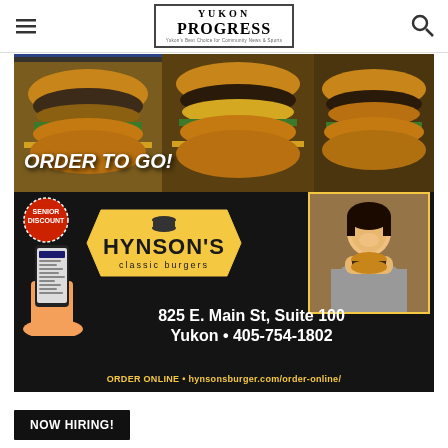Yukon Progress — Yukon's Best Choice for Community News & Sports
[Figure (illustration): Hynson's Classic Burgers advertisement. Dark background with three burger photos at top. Bold white italic text 'ORDER TO GO!'. Yellow hexagon logo reading 'HYNSON'S classic burgers'. Red circle badge 'SENIOR DISCOUNT'. Hand holding phone with app. Photo of smiling woman eating burger. Address: 825 E. Main St, Suite 100, Yukon • 405-754-1802. Yellow text: ORDER ONLINE • hynsonsburger.com/order-online/]
NOW HIRING!